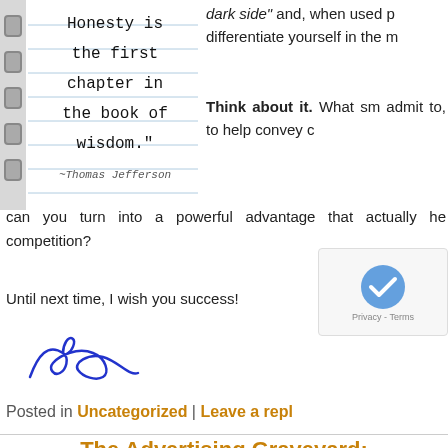[Figure (photo): Notebook with printed quote: 'Honesty is the first chapter in the book of wisdom.' ~Thomas Jefferson]
dark side" and, when used properly, differentiate yourself in the m...
Think about it. What sm... admit to, to help convey c... can you turn into a powerful advantage that actually he... competition?
Until next time, I wish you success!
[Figure (illustration): Blue handwritten signature of Drew]
Posted in Uncategorized | Leave a repl...
The Advertising Graveyard: